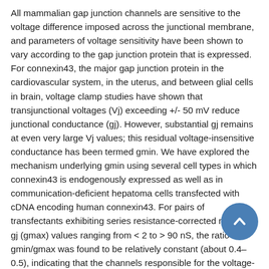All mammalian gap junction channels are sensitive to the voltage difference imposed across the junctional membrane, and parameters of voltage sensitivity have been shown to vary according to the gap junction protein that is expressed. For connexin43, the major gap junction protein in the cardiovascular system, in the uterus, and between glial cells in brain, voltage clamp studies have shown that transjunctional voltages (Vj) exceeding +/- 50 mV reduce junctional conductance (gj). However, substantial gj remains at even very large Vj values; this residual voltage-insensitive conductance has been termed gmin. We have explored the mechanism underlying gmin using several cell types in which connexin43 is endogenously expressed as well as in communication-deficient hepatoma cells transfected with cDNA encoding human connexin43. For pairs of transfectants exhibiting series resistance-corrected maximal gj (gmax) values ranging from < 2 to > 90 nS, the ratio gmin/gmax was found to be relatively constant (about 0.4–0.5), indicating that the channels responsible for the voltage-sensitive and -insensitive components of gj are not independent. Single channel studies further revealed that different channel sizes comprise the voltage-sensitive and -insensitive components, and that the open times of the larger, more voltage-sensitive conductance events declined to values near zero at large voltages, despite the
[Figure (other): A circular scroll-to-top button with a blue background and white upward-pointing chevron arrow, overlaid on the bottom-right area of the text.]